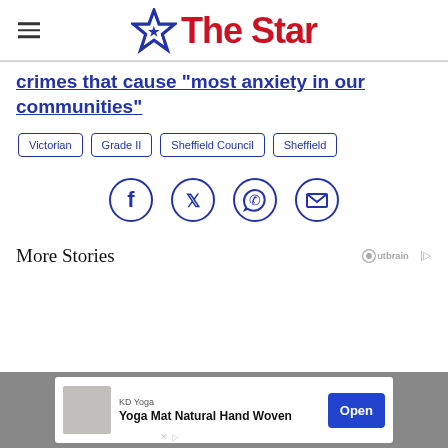The Star
crimes that cause “most anxiety in our communities”
Victorian
Grade II
Sheffield Council
Sheffield
[Figure (infographic): Social share icons: Facebook, Twitter, WhatsApp, Email]
More Stories
[Figure (logo): Outbrain logo]
[Figure (infographic): Advertisement banner: KD Yoga - Yoga Mat Natural Hand Woven with Open button]